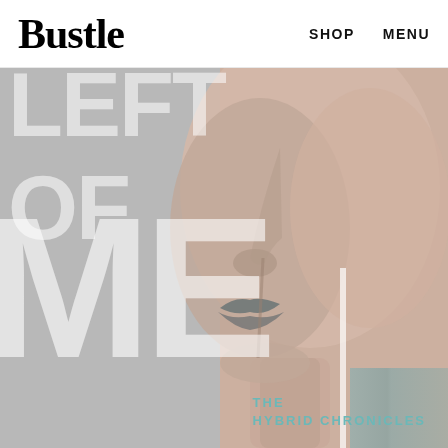Bustle   SHOP   MENU
[Figure (photo): Close-up side profile of a face with lips and nose visible, split-toned image with warm skin tones on the right and cool grey tones on the left, with large white semi-transparent text overlay reading LEFT OF ME and THE HYBRID CHRONICLES]
LEFT OF ME
THE HYBRID CHRONICLES